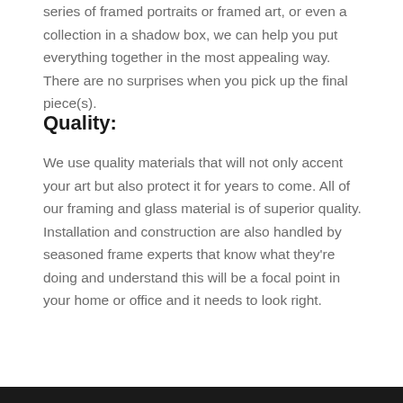series of framed portraits or framed art, or even a collection in a shadow box, we can help you put everything together in the most appealing way. There are no surprises when you pick up the final piece(s).
Quality:
We use quality materials that will not only accent your art but also protect it for years to come. All of our framing and glass material is of superior quality. Installation and construction are also handled by seasoned frame experts that know what they're doing and understand this will be a focal point in your home or office and it needs to look right.